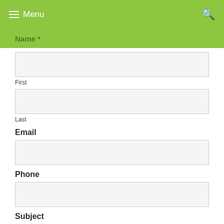Menu
Name *
First
Last
Email
Phone
Subject